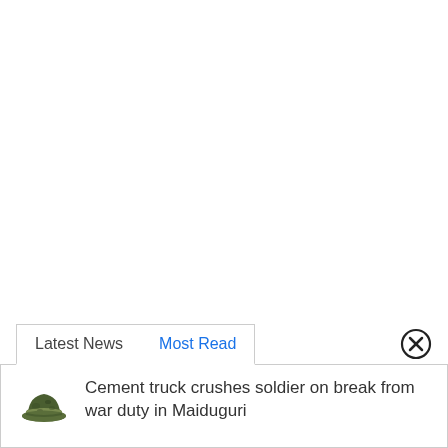Latest News
Most Read
Cement truck crushes soldier on break from war duty in Maiduguri